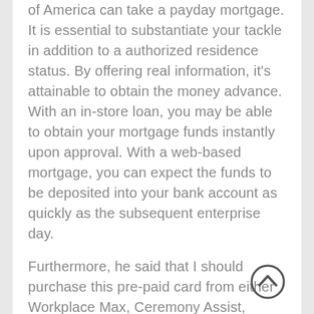of America can take a payday mortgage. It is essential to substantiate your tackle in addition to a authorized residence status. By offering real information, it's attainable to obtain the money advance. With an in-store loan, you may be able to obtain your mortgage funds instantly upon approval. With a web-based mortgage, you can expect the funds to be deposited into your bank account as quickly as the subsequent enterprise day.
Furthermore, he said that I should purchase this pre-paid card from either Workplace Max, Ceremony Assist, Walgreens, CVS, Household
[Figure (other): A circular scroll-up / back-to-top button icon with an upward-pointing chevron inside a circle, dark grey outline style.]